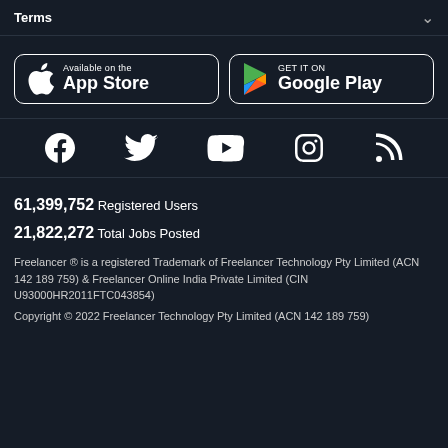Terms
[Figure (logo): App Store and Google Play store download buttons]
[Figure (infographic): Social media icons: Facebook, Twitter, YouTube, Instagram, RSS]
61,399,752  Registered Users
21,822,272  Total Jobs Posted
Freelancer ® is a registered Trademark of Freelancer Technology Pty Limited (ACN 142 189 759) & Freelancer Online India Private Limited (CIN U93000HR2011FTC043854)
Copyright © 2022 Freelancer Technology Pty Limited (ACN 142 189 759)